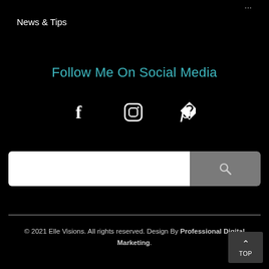News & Tips
Follow Me On Social Media
[Figure (infographic): Social media icons row: Facebook (f), Instagram (circle with square camera), Pinterest (p)]
[Figure (screenshot): Search bar with white input field on left and grey search button with magnifying glass icon on right]
© 2021 Elle Visions. All rights reserved. Design By Professional Digital Marketing.